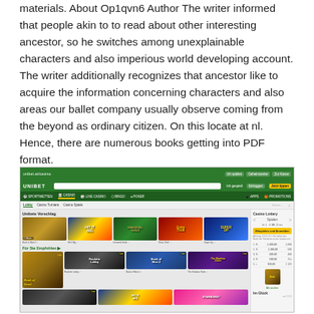materials. About Op1qvn6 Author The writer informed that people akin to to read about other interesting ancestor, so he switches among unexplainable characters and also imperious world developing account. The writer additionally recognizes that ancestor like to acquire the information concerning characters and also areas our ballet company usually observe coming from the beyond as ordinary citizen. On this locate at nl. Hence, there are numerous books getting into PDF format.
[Figure (screenshot): Screenshot of the Unibet online casino website showing the casino lobby with navigation bar, game thumbnails including 'Hit It Big', 'Immortal Guild', 'Extra Thrill', 'Super Up', 'Roulette Lobby', 'The Shadow Order', 'Book of Dead', and a sidebar with casino tournament information and a yellow action button.]